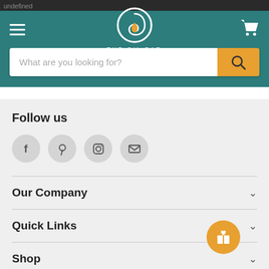undefined
[Figure (logo): The Oil Bar logo - circular swirl with drop shape and text THE OIL BAR below, on teal background]
What are you looking for?
Follow us
[Figure (infographic): Social media icons: Facebook, Pinterest, Instagram, Email in circular grey buttons]
Our Company
Quick Links
Shop